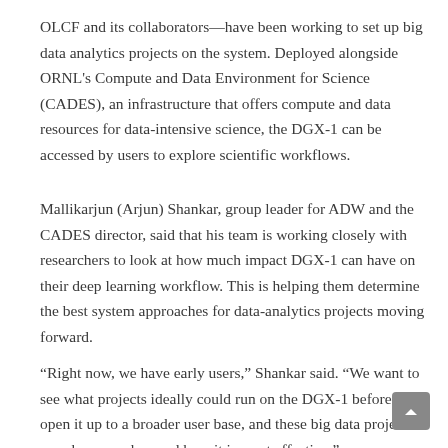OLCF and its collaborators—have been working to set up big data analytics projects on the system. Deployed alongside ORNL's Compute and Data Environment for Science (CADES), an infrastructure that offers compute and data resources for data-intensive science, the DGX-1 can be accessed by users to explore scientific workflows.
Mallikarjun (Arjun) Shankar, group leader for ADW and the CADES director, said that his team is working closely with researchers to look at how much impact DGX-1 can have on their deep learning workflow. This is helping them determine the best system approaches for data-analytics projects moving forward.
“Right now, we have early users,” Shankar said. “We want to see what projects ideally could run on the DGX-1 before we open it up to a broader user base, and these big data projects can show us when and how it is most effective.”